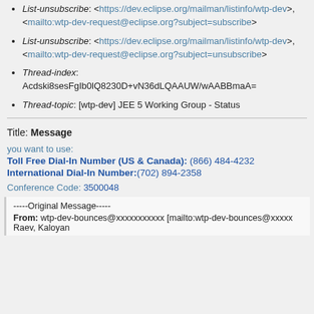List-unsubscribe: <https://dev.eclipse.org/mailman/listinfo/wtp-dev>, <mailto:wtp-dev-request@eclipse.org?subject=subscribe>
List-unsubscribe: <https://dev.eclipse.org/mailman/listinfo/wtp-dev>, <mailto:wtp-dev-request@eclipse.org?subject=unsubscribe>
Thread-index: Acdski8sesFgIb0lQ8230D+vN36dLQAAUW/wAABBmaA=
Thread-topic: [wtp-dev] JEE 5 Working Group - Status
Title: Message
you want to use:
Toll Free Dial-In Number (US & Canada): (866) 484-4232
International Dial-In Number:(702) 894-2358
Conference Code: 3500048
-----Original Message-----
From: wtp-dev-bounces@xxxxxxxxxxx [mailto:wtp-dev-bounces@xxxxx
Raev, Kaloyan